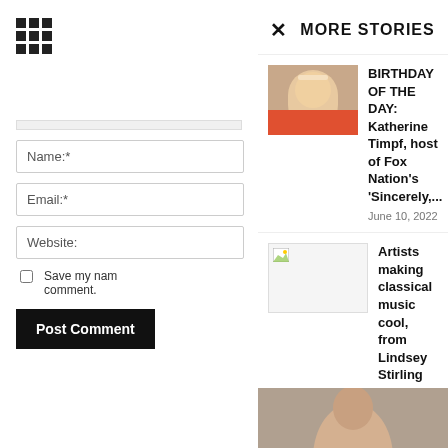[Figure (other): 3x3 grid icon in top-left sidebar]
Name:*
Email:*
Website:
Save my name... comment.
Post Comment
MORE STORIES
BIRTHDAY OF THE DAY: Katherine Timpf, host of Fox Nation's 'Sincerely,...
June 10, 2022
Artists making classical music cool, from Lindsey Stirling to Masego
April 20, 2022
Teen Mom Kailyn Lowry leaks texts messages from ex-husband Javi Marroquin...
March 7, 2022